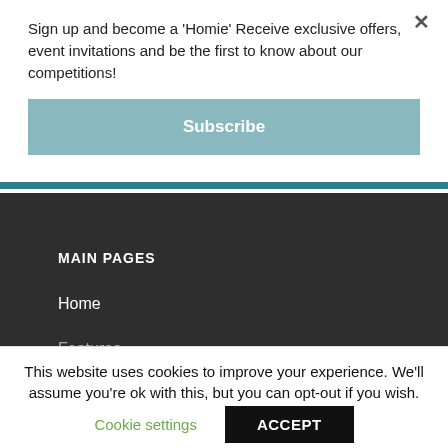Sign up and become a 'Homie' Receive exclusive offers, event invitations and be the first to know about our competitions!
Subscribe
MAIN PAGES
Home
Features
This website uses cookies to improve your experience. We'll assume you're ok with this, but you can opt-out if you wish.
Cookie settings
ACCEPT